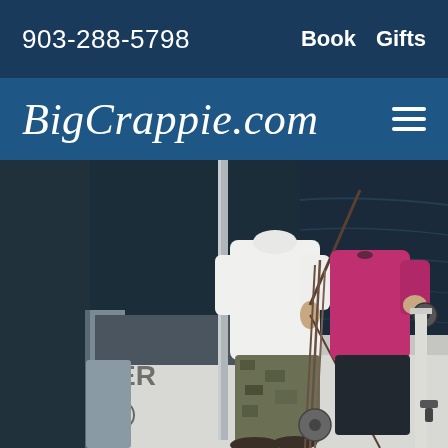903-288-5798
Book  Gifts
BigCrappie.com
[Figure (photo): Two people standing on a white fishing boat on dark water, fishing with rods. One person wears a white long-sleeve shirt and camouflage pants, the other wears a pink/magenta top and dark pants. Partial boat name visible showing 'TER'.]